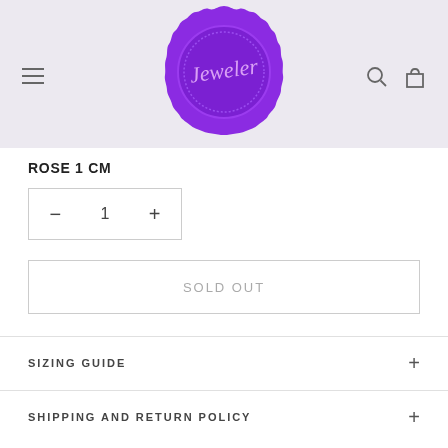[Figure (logo): Purple wax seal logo with 'Jeweler' written in cursive script in the center, on a light lavender header background]
ROSE 1 CM
— 1 +  (quantity selector)
SOLD OUT
SIZING GUIDE
SHIPPING AND RETURN POLICY